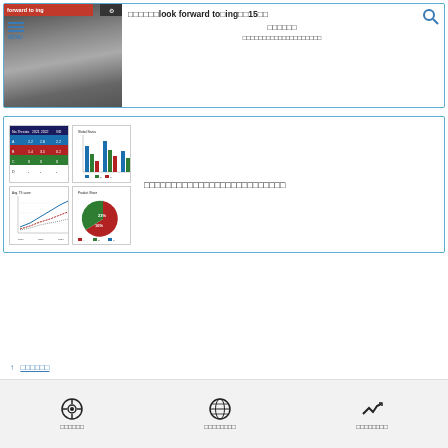[Figure (photo): Black and white photo of person fishing with a net, partial red banner overlay with text 'forward to ing', icons on right side. Menu icon on left. Article card with text about 'look forward to ing' and Japanese characters with number 15.]
look forward to ing 15
日本語テキスト（タイトル）
日本語テキスト（サブタイトル）
[Figure (infographic): Thumbnail collage of four charts: a colored table/heatmap, a grouped bar chart, a line chart, and a pie chart.]
日本語テキスト（説明文・見出し）
↑ ページトップへ
ホームへ　グローバルへ　実績・事例